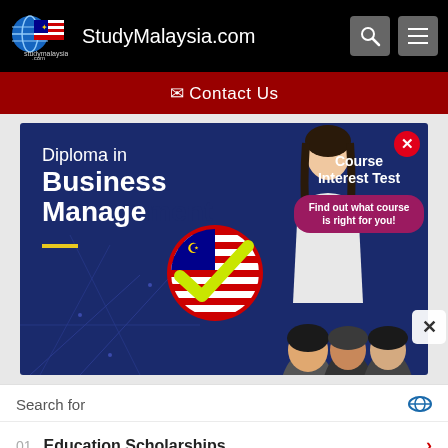StudyMalaysia.com
✉ Contact Us
[Figure (screenshot): Advertisement banner for Diploma in Business Management with Course Interest Test overlay. Blue background with a Malaysian flag checkmark badge, a female student photo, and text 'Find out what course is right for you!' on a pink bubble. Close button (red X) in top-right corner.]
Search for
01. Education Scholarships
02. Stanford University Tuition
Yahoo! Search | Sponsored